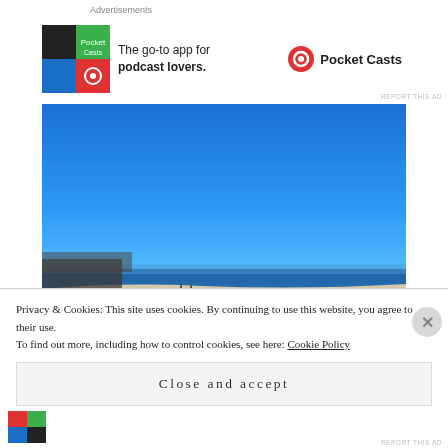Advertisements
[Figure (photo): Pocket Casts advertisement banner: colorful app icon tiles on left, text 'The go-to app for podcast lovers.' in center, Pocket Casts logo and name on right]
[Figure (photo): Beach scene with bright blue sky, sandy shore, ocean waves, and a few distant figures on the beach]
Privacy & Cookies: This site uses cookies. By continuing to use this website, you agree to their use.
To find out more, including how to control cookies, see here: Cookie Policy
Close and accept